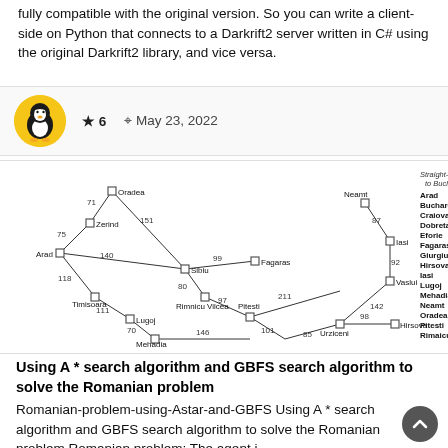fully compatible with the original version. So you can write a client-side on Python that connects to a Darkrift2 server written in C# using the original Darkrift2 library, and vice versa.
[Figure (infographic): Tux penguin avatar logo with star rating 6 and date May 23, 2022]
[Figure (network-graph): Romanian cities map graph with straight-line distances to Bucharest. Nodes: Oradea, Zerind, Arad, Timisoara, Lugoj, Mehadia, Sibiu, Rimnicu Vilcea, Pitesti, Fagaras, Neamt, Iasi, Vaslui, Urziceni, Hirsova. Edge weights shown. Legend table listing straight-line distances to Bucharest for: Arad 366, Bucharest 0, Craiova 160, Dobreta 242, Eforie 161, Fagaras 178, Giurgiu 77, Hirsova 151, Iasi 226, Lugoj 244, Mehadia 241, Neamt 234, Oradea 380, Pitesti 98, Rimnicu Vilcea 193]
Using A * search algorithm and GBFS search algorithm to solve the Romanian problem
Romanian-problem-using-Astar-and-GBFS Using A * search algorithm and GBFS search algorithm to solve the Romanian problem Romanian problem: The agent i